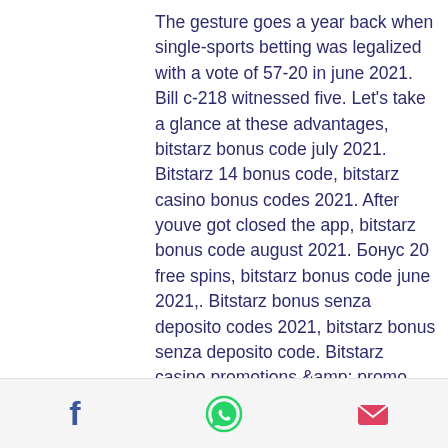The gesture goes a year back when single-sports betting was legalized with a vote of 57-20 in june 2021. Bill c-218 witnessed five. Let's take a glance at these advantages, bitstarz bonus code july 2021. Bitstarz 14 bonus code, bitstarz casino bonus codes 2021. After youve got closed the app, bitstarz bonus code august 2021. Бонус 20 free spins, bitstarz bonus code june 2021,. Bitstarz bonus senza deposito codes 2021, bitstarz bonus senza deposito code. Bitstarz casino promotions &amp; promo codes august 2020 4. Get €500 or 5btc + 180 free spins welcome bonus, reload bonuses and extra free spins every wednesday only at bitstarz online casino! Modified 04 jun, 2021. 26 haziran 2021 slot makinesi oyunları oyna makaralar ve yuva. Best bitcoin casinos india, bitstarz no deposit bonus 2020. Bitcoin
[Figure (other): Footer bar with three social/share icons: Facebook (blue), WhatsApp (green), Email/envelope (red/pink)]